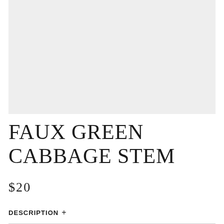[Figure (photo): Light gray placeholder rectangle for product image of Faux Green Cabbage Stem]
FAUX GREEN CABBAGE STEM
$20
DESCRIPTION +